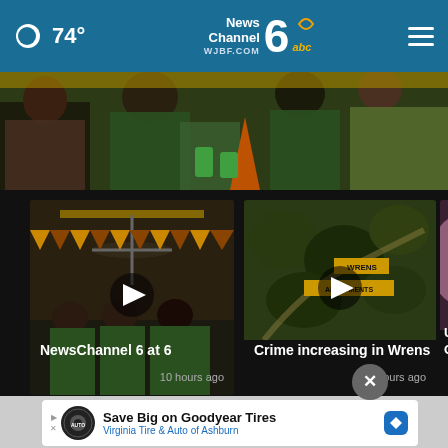74° NewsChannel 6 abc WJBF.COM
[Figure (photo): Hero photo showing people in green shirts at an event]
[Figure (screenshot): Video thumbnail of NewsChannel 6 at 6 broadcast]
NewsChannel 6 at 6
10 hours ago
[Figure (screenshot): Video thumbnail of aerial view with text overlay about crime in Wrens]
Crime increasing in Wrens
19 hours ago
[Figure (screenshot): Partially visible third video card]
Univer Carol
More Videos ▸
[Figure (infographic): Advertisement: Save Big on Goodyear Tires - Virginia Tire & Auto of Ashburn]